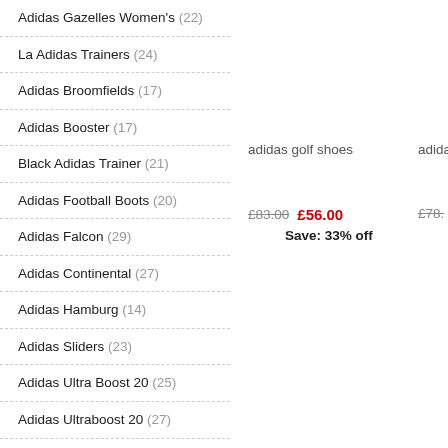Adidas Gazelles Women's (22)
La Adidas Trainers (24)
Adidas Broomfields (17)
Adidas Booster (17)
Black Adidas Trainer (21)
Adidas Football Boots (20)
Adidas Falcon (29)
Adidas Continental (27)
Adidas Hamburg (14)
Adidas Sliders (23)
Adidas Ultra Boost 20 (25)
Adidas Ultraboost 20 (27)
Adidas Cloudfoam (22)
Adidas Forest Hills (17)
Adidas High Tops (17)
Adidas Nmd R1 (22)
adidas golf shoes
adida
£83.00  £56.00  £78.-
Save: 33% off